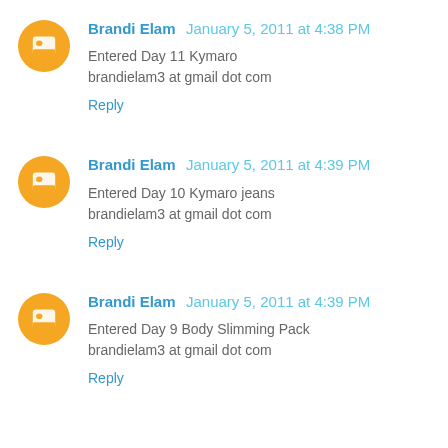Brandi Elam January 5, 2011 at 4:38 PM
Entered Day 11 Kymaro
brandielam3 at gmail dot com
Reply
Brandi Elam January 5, 2011 at 4:39 PM
Entered Day 10 Kymaro jeans
brandielam3 at gmail dot com
Reply
Brandi Elam January 5, 2011 at 4:39 PM
Entered Day 9 Body Slimming Pack
brandielam3 at gmail dot com
Reply